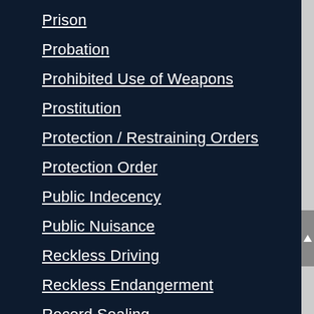Prison
Probation
Prohibited Use of Weapons
Prostitution
Protection / Restraining Orders
Protection Order
Public Indecency
Public Nuisance
Reckless Driving
Reckless Endangerment
Record Sealing
Resisting Arrest